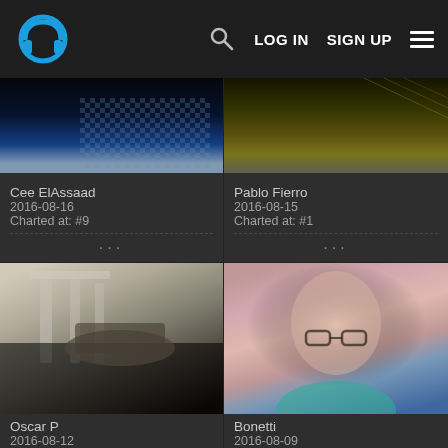[Figure (screenshot): Music streaming website header with headphone logo, search icon, LOG IN, SIGN UP buttons, and hamburger menu on dark background]
[Figure (photo): Top portion of DJ/music card for Cee ElAssaad showing abstract blue pattern]
Cee ElAssaad
2016-08-16
Charted at: #9
[Figure (photo): Top portion of DJ/music card for Pablo Fierro showing yellow-green texture]
Pablo Fierro
2016-08-15
Charted at: #1
[Figure (photo): Oscar P profile photo in black and white showing person with hat and sunglasses in front of ancient columns]
Oscar P
2016-08-12
[Figure (photo): Bonetti profile photo with colorful tinted portrait of bald man with glasses]
Bonetti
2016-08-09